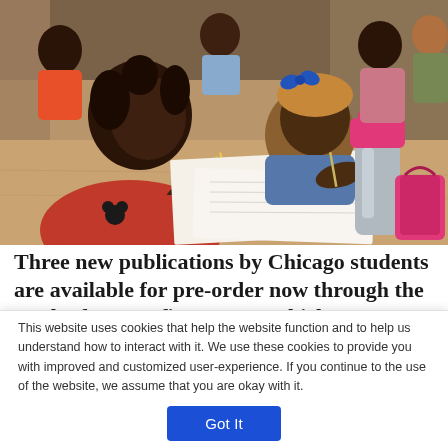[Figure (photo): Children sitting at desks writing on paper with pencils. A silver water bottle with a pink lid is visible on the desk. Multiple students are engaged in a writing activity.]
Three new publications by Chicago students are available for pre-order now through the work of nonprofit 826CHI, which
This website uses cookies that help the website function and to help us understand how to interact with it. We use these cookies to provide you with improved and customized user-experience. If you continue to the use of the website, we assume that you are okay with it.